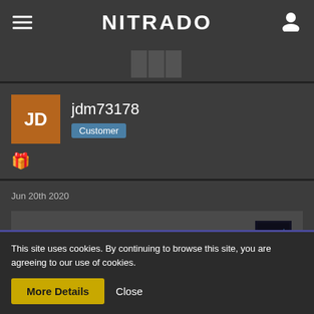NITRADO
[Figure (screenshot): Nitrado website user profile page showing user jdm73178 with Customer badge, a post dated Jun 20th 2020 with Quote from RSSF_Maverick and Quote from jdm73178 sections, and a cookie consent banner at the bottom.]
jdm73178
Customer
Jun 20th 2020
Quote from RSSF_Maverick
Quote from jdm73178
This site uses cookies. By continuing to browse this site, you are agreeing to our use of cookies.
More Details
Close